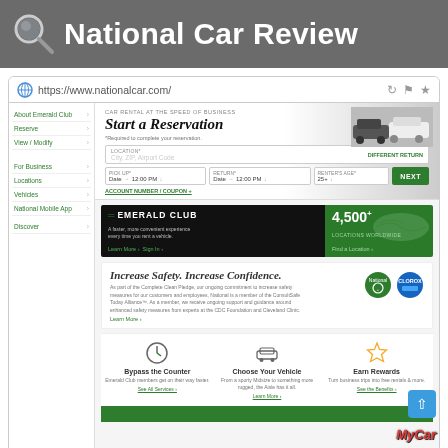National Car Review
[Figure (screenshot): Screenshot of nationalcar.com website showing reservation form, Emerald Club banner, safety section, and features row]
https://www.nationalcar.com/
CAR RENTAL AT THE SPEED OF BUSINESS
Start a Reservation
*Required to complete your reservation
LOCATION*
City, ZIP, Airport Code
DIFFERENT RETURN
PICK UP*
Date → 12:00 PM ↓
RETURN*
Date → 12:00 PM ↓
RENTER'S AGE*
25+ ↓
NEXT
ACCOUNT NUMBER / COUPON +
EMERALD CLUB
A faster, more convenient experience every time you rent a vehicle.
Learn More ›  Sign In ›
4,500+
LOCATIONS WORLDWIDE
Find a Location ›
Increase Safety. Increase Confidence.
As part of the Complete Clean Pledge, our ongoing commitment to increase safety measures for our customers and employees, National is a member of the ConsultSafe Today Alliance™. As a member, we receive ongoing support and guidance around enhanced safety measures from experts at the CDC Foundation and Cleveland Clinic.
Learn More ›
Bypass the Counter
Emeraald Club members get on their way faster.
See All Services ›
Choose Your Vehicle
From a sporty Midsize to something more rugged, the Aisle has it all.
Learn More ›
Earn Rewards
Turn business trips into free rentals & more.
See the Benefits ›